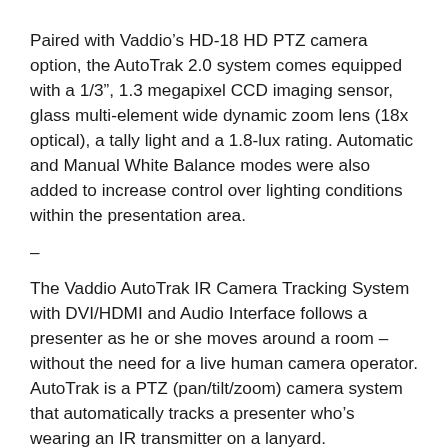Paired with Vaddio's HD-18 HD PTZ camera option, the AutoTrak 2.0 system comes equipped with a 1/3", 1.3 megapixel CCD imaging sensor, glass multi-element wide dynamic zoom lens (18x optical), a tally light and a 1.8-lux rating. Automatic and Manual White Balance modes were also added to increase control over lighting conditions within the presentation area.
–
The Vaddio AutoTrak IR Camera Tracking System with DVI/HDMI and Audio Interface follows a presenter as he or she moves around a room – without the need for a live human camera operator. AutoTrak is a PTZ (pan/tilt/zoom) camera system that automatically tracks a presenter who’s wearing an IR transmitter on a lanyard.